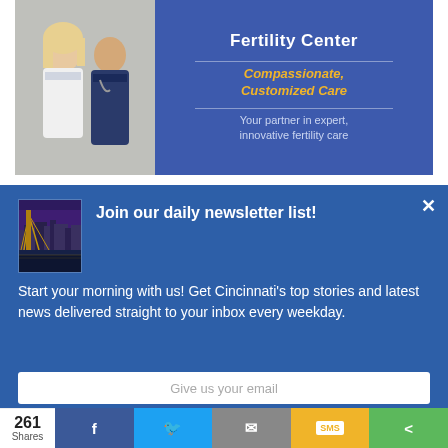[Figure (photo): Advertisement banner for a Fertility Center featuring two medical professionals in white coats on left, and blue background with text 'Compassionate, Customized Care – Your partner in expert, innovative fertility care' on right]
[Figure (screenshot): Newsletter signup popup overlay with blue background, showing a photo of Cincinnati bridge/skyline, title 'Join our daily newsletter list!', body text 'Start your morning with us! Get Cincinnati's top stories and latest news delivered straight to your inbox every weekday.', and an email input field at bottom]
Join our daily newsletter list!
Start your morning with us! Get Cincinnati's top stories and latest news delivered straight to your inbox every weekday.
261 Shares